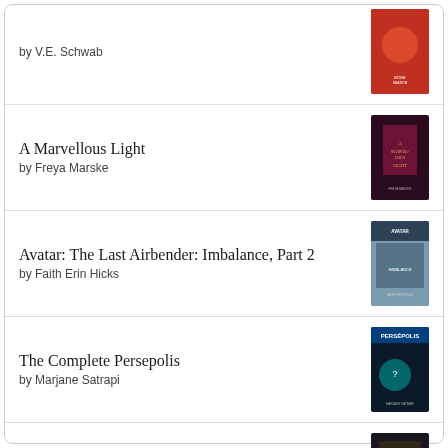by V.E. Schwab
A Marvellous Light
by Freya Marske
Avatar: The Last Airbender: Imbalance, Part 2
by Faith Erin Hicks
The Complete Persepolis
by Marjane Satrapi
Queen's Hope
by E.K. Johnston
[Figure (logo): Goodreads logo in a rounded rectangle button]